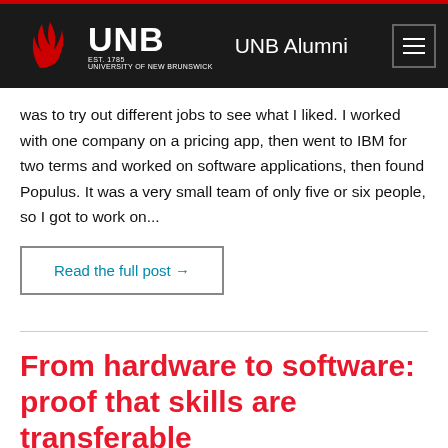UNB Alumni
was to try out different jobs to see what I liked. I worked with one company on a pricing app, then went to IBM for two terms and worked on software applications, then found Populus. It was a very small team of only five or six people, so I got to work on...
Read the full post →
From hardware to software: proof that skills are transferable